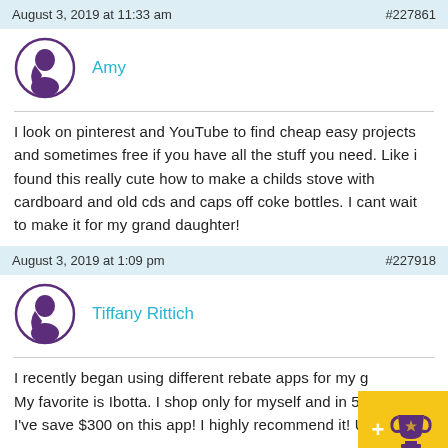August 3, 2019 at 11:33 am  #227861
[Figure (illustration): Purple avatar icon of a person with long hair, in a circle outline]
Amy
I look on pinterest and YouTube to find cheap easy projects and sometimes free if you have all the stuff you need. Like i found this really cute how to make a childs stove with cardboard and old cds and caps off coke bottles. I cant wait to make it for my grand daughter!
August 3, 2019 at 1:09 pm  #227918
[Figure (illustration): Purple avatar icon of a person with long hair, in a circle outline]
Tiffany Rittich
I recently began using different rebate apps for my g... My favorite is Ibotta. I shop only for myself and in 5 m... I've save $300 on this app! I highly recommend it! Use this...
[Figure (logo): Yellow badge with white plus sign and purple trophy icon]